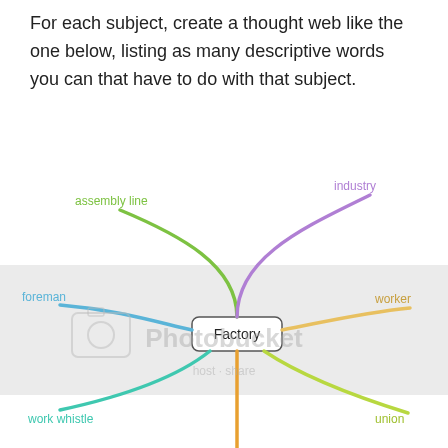For each subject, create a thought web like the one below, listing as many descriptive words you can that have to do with that subject.
[Figure (infographic): A thought web / mind map diagram centered on 'Factory' with colored curved branches extending to labels: assembly line (green, upper left), industry (purple, upper right), foreman (blue, middle left), worker (orange, middle right), work whistle (teal, lower left), union (yellow-green, lower right), and an unlabeled orange branch going down. The center node is a rounded rectangle labeled 'Factory'. The image has a Photobucket watermark overlay.]